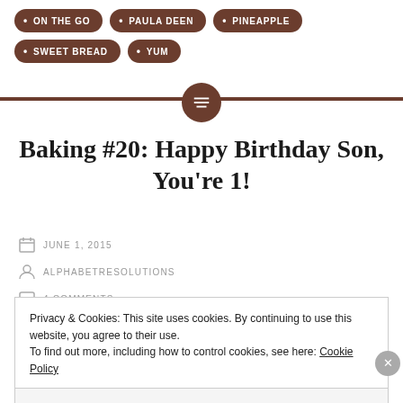ON THE GO
PAULA DEEN
PINEAPPLE
SWEET BREAD
YUM
Baking #20: Happy Birthday Son, You're 1!
JUNE 1, 2015
ALPHABETRESOLUTIONS
4 COMMENTS
Privacy & Cookies: This site uses cookies. By continuing to use this website, you agree to their use.
To find out more, including how to control cookies, see here: Cookie Policy
Close and accept